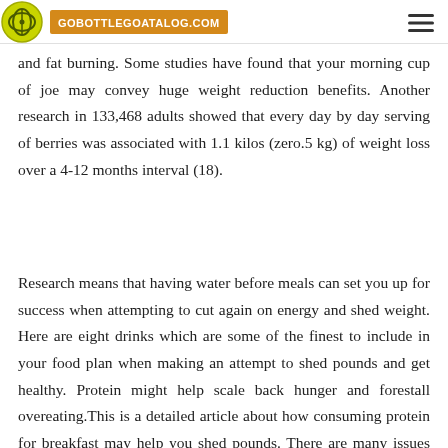GOBOTTLEGOATALOG.COM
and fat burning. Some studies have found that your morning cup of joe may convey huge weight reduction benefits. Another research in 133,468 adults showed that every day by day serving of berries was associated with 1.1 kilos (zero.5 kg) of weight loss over a 4-12 months interval (18).
Research means that having water before meals can set you up for success when attempting to cut again on energy and shed weight. Here are eight drinks which are some of the finest to include in your food plan when making an attempt to shed pounds and get healthy. Protein might help scale back hunger and forestall overeating.This is a detailed article about how consuming protein for breakfast may help you shed pounds. There are many issues you are able to do to shed pounds and improve health. Here are the 25